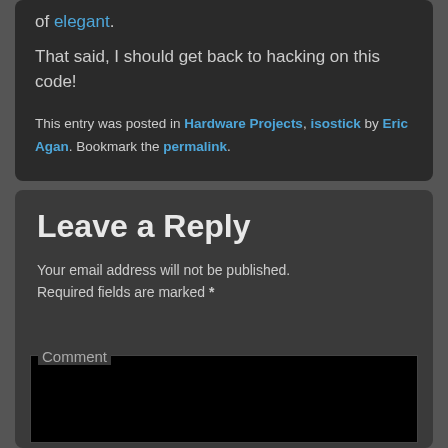of elegant.
That said, I should get back to hacking on this code!
This entry was posted in Hardware Projects, isostick by Eric Agan. Bookmark the permalink.
Leave a Reply
Your email address will not be published. Required fields are marked *
Comment